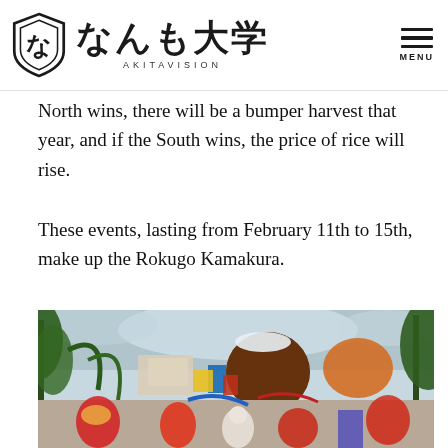なんも大学 AKITAVISION
North wins, there will be a bumper harvest that year, and if the South wins, the price of rice will rise.
These events, lasting from February 11th to 15th, make up the Rokugo Kamakura.
[Figure (photo): A colorful outdoor winter festival scene with ornamental decorations, daruma dolls, pine branches, and various traditional Japanese festival items covered lightly in snow.]